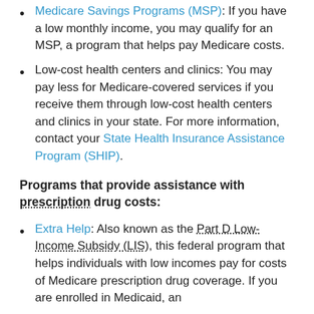Medicare Savings Programs (MSP): If you have a low monthly income, you may qualify for an MSP, a program that helps pay Medicare costs.
Low-cost health centers and clinics: You may pay less for Medicare-covered services if you receive them through low-cost health centers and clinics in your state. For more information, contact your State Health Insurance Assistance Program (SHIP).
Programs that provide assistance with prescription drug costs:
Extra Help: Also known as the Part D Low-Income Subsidy (LIS), this federal program that helps individuals with low incomes pay for costs of Medicare prescription drug coverage. If you are enrolled in Medicaid, an